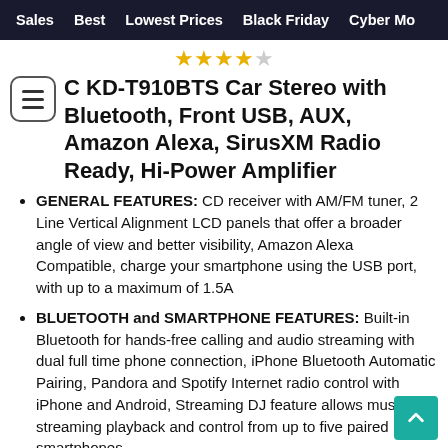Sales   Best   Lowest Prices   Black Friday   Cyber Mo
C KD-T910BTS Car Stereo with Bluetooth, Front USB, AUX, Amazon Alexa, SirusXM Radio Ready, Hi-Power Amplifier
GENERAL FEATURES: CD receiver with AM/FM tuner, 2 Line Vertical Alignment LCD panels that offer a broader angle of view and better visibility, Amazon Alexa Compatible, charge your smartphone using the USB port, with up to a maximum of 1.5A
BLUETOOTH and SMARTPHONE FEATURES: Built-in Bluetooth for hands-free calling and audio streaming with dual full time phone connection, iPhone Bluetooth Automatic Pairing, Pandora and Spotify Internet radio control with iPhone and Android, Streaming DJ feature allows music streaming playback and control from up to five paired smartphones